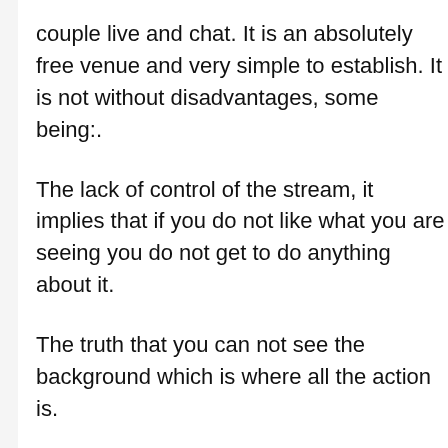couple live and chat. It is an absolutely free venue and very simple to establish. It is not without disadvantages, some being:.
The lack of control of the stream, it implies that if you do not like what you are seeing you do not get to do anything about it.
The truth that you can not see the background which is where all the action is.
It can be done with a computer system or